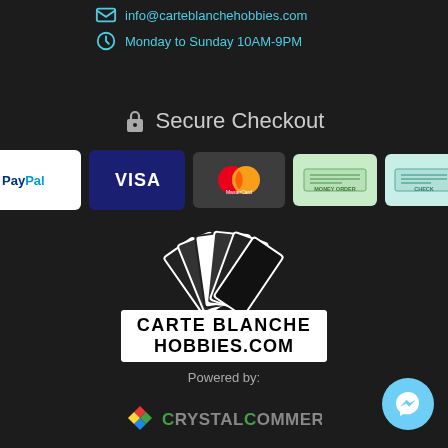info@carteblanchehobbies.com
Monday to Sunday 10AM-9PM
Secure Checkout
[Figure (logo): Payment method logos: PayPal, VISA, MasterCard, Money Order, Check]
[Figure (logo): Carte Blanche Hobbies logo with playing cards fan and text CARTE BLANCHE HOBBIES.COM]
Powered by:
[Figure (logo): CrystalCommerce logo with diamond/crystal icon and green/grey text]